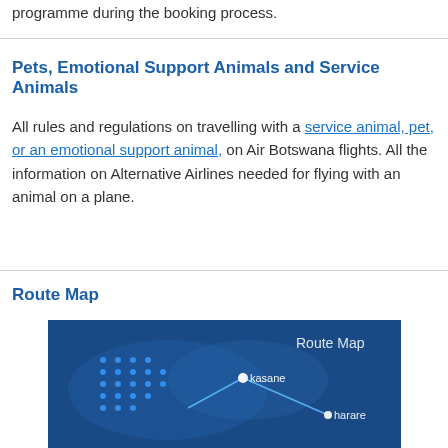programme during the booking process.
Pets, Emotional Support Animals and Service Animals
All rules and regulations on travelling with a service animal, pet, or an emotional support animal, on Air Botswana flights. All the information on Alternative Airlines needed for flying with an animal on a plane.
Route Map
[Figure (map): Route Map showing Air Botswana flight routes over a dark blue background with dots and lines connecting cities including kasane and harare]